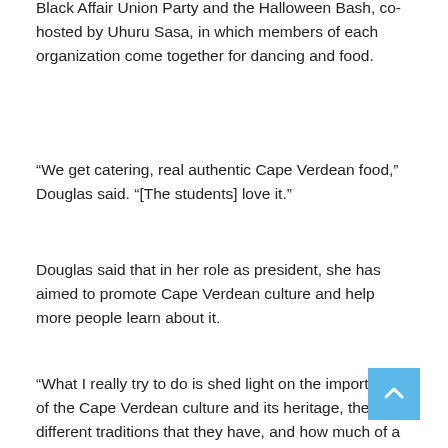Black Affair Union Party and the Halloween Bash, co-hosted by Uhuru Sasa, in which members of each organization come together for dancing and food.
“We get catering, real authentic Cape Verdean food,” Douglas said. “[The students] love it.”
Douglas said that in her role as president, she has aimed to promote Cape Verdean culture and help more people learn about it.
“What I really try to do is shed light on the importance of the Cape Verdean culture and its heritage, the different traditions that they have, and how much of a family-oriented culture this is,” Douglas said. “It’s very close-knit, I love everybody in our organization.”
The Cape Verdean Student Association meets weekly on